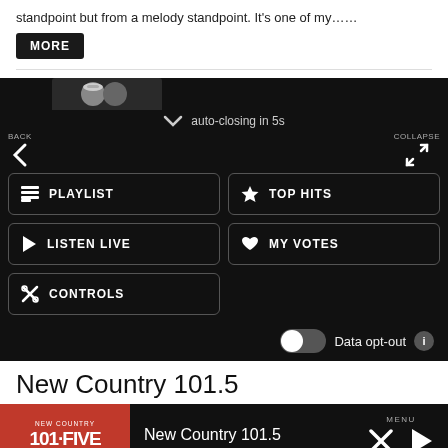standpoint but from a melody standpoint. It's one of my……
MORE
[Figure (screenshot): Dark navigation overlay panel for a radio app showing auto-closing countdown, BACK/COLLAPSE controls, and menu buttons: PLAYLIST, TOP HITS, LISTEN LIVE, MY VOTES, CONTROLS. Data opt-out toggle at bottom right.]
New Country 101.5
[Figure (screenshot): App player bar at bottom with New Country 101.5 logo in red, station name, MENU label, close (X) and play (triangle) buttons.]